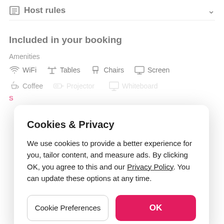Host rules
Included in your booking
Amenities
WiFi   Tables   Chairs   Screen
Coffee   Projector   Whiteboard
Cookies & Privacy
We use cookies to provide a better experience for you, tailor content, and measure ads. By clicking OK, you agree to this and our Privacy Policy. You can update these options at any time.
Cookie Preferences
OK